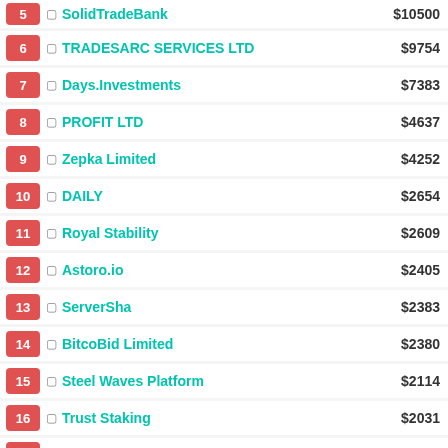5 SolidTradeBank $10500
6 TRADESARC SERVICES LTD $9754
7 Days.Investments $7383
8 PROFIT LTD $4637
9 Zepka Limited $4252
10 DAILY $2654
11 Royal Stability $2609
12 Astoro.io $2405
13 ServerSha $2383
14 BitcoBid Limited $2380
15 Steel Waves Platform $2114
16 Trust Staking $2031
17 LightassetsLtd $2019
18 INVESTSUITE LIMITED $1840
19 LuxIoProfit $1731
20 MiningDoor.com $1725
STATISTICS